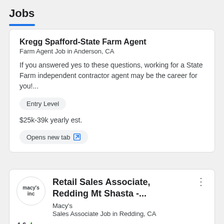Jobs
Kregg Spafford-State Farm Agent
Farm Agent Job in Anderson, CA

If you answered yes to these questions, working for a State Farm independent contractor agent may be the career for you!...

Entry Level

$25k-39k yearly est.

Opens new tab
[Figure (logo): macy's inc logo circle]
Retail Sales Associate, Redding Mt Shasta -...
Macy's
Sales Associate Job in Redding, CA
4.6 ★